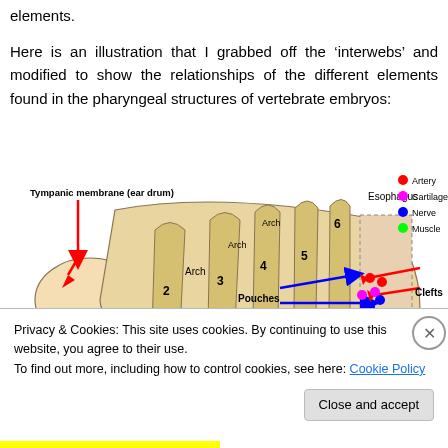elements.
Here is an illustration that I grabbed off the ‘interwebs’ and modified to show the relationships of the different elements found in the pharyngeal structures of vertebrate embryos:
[Figure (illustration): Anatomical illustration of pharyngeal structures in vertebrate embryos showing arches (1-6), pouches, clefts, tympanic membrane (ear drum), esophagus, and a legend indicating Artery (red), Cartilage (pink), Nerve (blue), and Muscle (green) with colored dots and red/blue arrows pointing to structures.]
Privacy & Cookies: This site uses cookies. By continuing to use this website, you agree to their use.
To find out more, including how to control cookies, see here: Cookie Policy